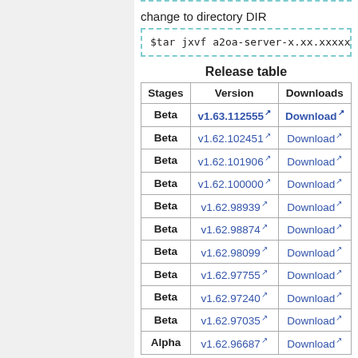change to directory DIR
$tar jxvf a2oa-server-x.xx.xxxxx
Release table
| Stages | Version | Downloads |
| --- | --- | --- |
| Beta | v1.63.112555↗ | Download↗ |
| Beta | v1.62.102451↗ | Download↗ |
| Beta | v1.62.101906↗ | Download↗ |
| Beta | v1.62.100000↗ | Download↗ |
| Beta | v1.62.98939↗ | Download↗ |
| Beta | v1.62.98874↗ | Download↗ |
| Beta | v1.62.98099↗ | Download↗ |
| Beta | v1.62.97755↗ | Download↗ |
| Beta | v1.62.97240↗ | Download↗ |
| Beta | v1.62.97035↗ | Download↗ |
| Alpha | v1.62.96687↗ | Download↗ |